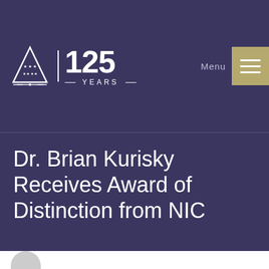[Figure (logo): Organization logo with triangle/mountain icon, vertical bar, '125 YEARS' text in white on dark purple background, with navigation menu icon in gold/tan]
Dr. Brian Kurisky Receives Award of Distinction from NIC